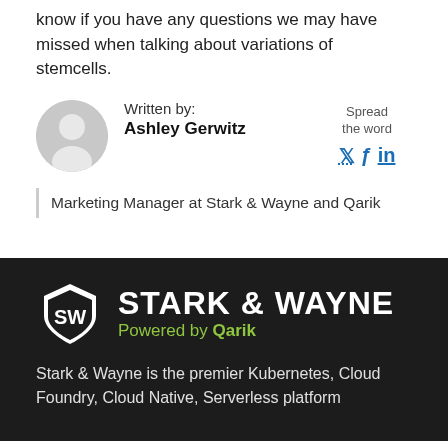know if you have any questions we may have missed when talking about variations of stemcells.
Written by: Ashley Gerwitz
Marketing Manager at Stark & Wayne and Qarik
Spread the word
[Figure (logo): Stark & Wayne logo with shield emblem and 'Powered by Qarik' tagline on dark background]
Stark & Wayne is the premier Kubernetes, Cloud Foundry, Cloud Native, Serverless platform